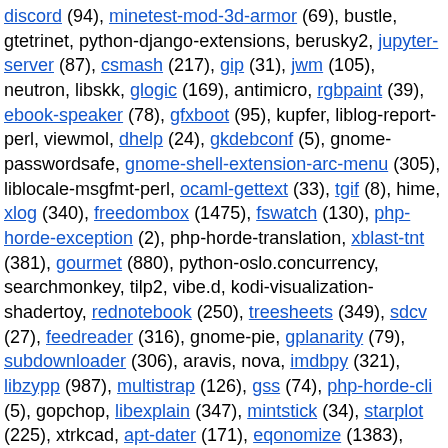discord (94), minetest-mod-3d-armor (69), bustle, gtetrinet, python-django-extensions, berusky2, jupyter-server (87), csmash (217), gip (31), jwm (105), neutron, libskk, glogic (169), antimicro, rgbpaint (39), ebook-speaker (78), gfxboot (95), kupfer, liblog-report-perl, viewmol, dhelp (24), gkdebconf (5), gnome-passwordsafe, gnome-shell-extension-arc-menu (305), liblocale-msgfmt-perl, ocaml-gettext (33), tgif (8), hime, xlog (340), freedombox (1475), fswatch (130), php-horde-exception (2), php-horde-translation, xblast-tnt (381), gourmet (880), python-oslo.concurrency, searchmonkey, tilp2, vibe.d, kodi-visualization-shadertoy, rednotebook (250), treesheets (349), sdcv (27), feedreader (316), gnome-pie, gplanarity (79), subdownloader (306), aravis, nova, imdbpy (321), libzypp (987), multistrap (126), gss (74), php-horde-cli (5), gopchop, libexplain (347), mintstick (34), starplot (225), xtrkcad, apt-dater (171), eqonomize (1383), minetest-mod-protector (40), minetest-mod-lucky-block (8), vdr-plugin-vnsiserver, devilspie2 (35), gmpc-plugins, spellutils (46),